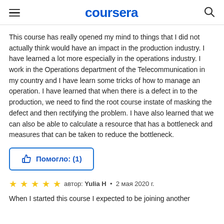coursera
This course has really opened my mind to things that I did not actually think would have an impact in the production industry. I have learned a lot more especially in the operations industry. I work in the Operations department of the Telecommunication in my country and I have learn some tricks of how to manage an operation. I have learned that when there is a defect in to the production, we need to find the root course instate of masking the defect and then rectifying the problem. I have also learned that we can also be able to calculate a resource that has a bottleneck and measures that can be taken to reduce the bottleneck.
👍 Помогло: (1)
★★★★★  автор: Yulia H  •  2 мая 2020 г.
When I started this course I expected to be joining another